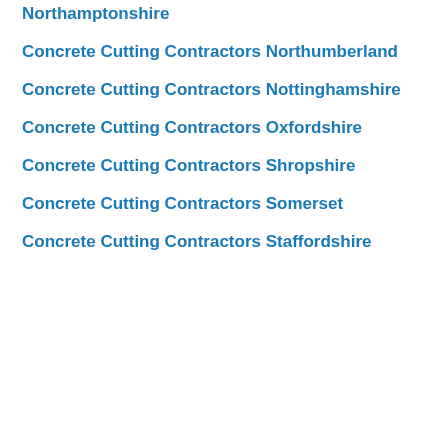Northamptonshire
Concrete Cutting Contractors Northumberland
Concrete Cutting Contractors Nottinghamshire
Concrete Cutting Contractors Oxfordshire
Concrete Cutting Contractors Shropshire
Concrete Cutting Contractors Somerset
Concrete Cutting Contractors Staffordshire